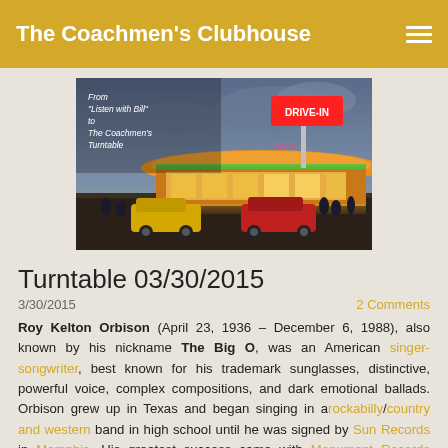The Coachmen's Clubhouse
[Figure (photo): Retro drive-in restaurant at night with neon signs, cars in parking lot. Text overlay reads: From 'Listen with Bill' to The Coachmen's Turntable]
Turntable 03/30/2015
3/30/2015   2 Comments
Roy Kelton Orbison (April 23, 1936 – December 6, 1988), also known by his nickname The Big O, was an American singer-songwriter, best known for his trademark sunglasses, distinctive, powerful voice, complex compositions, and dark emotional ballads. Orbison grew up in Texas and began singing in a rockabilly/country and western band in high school until he was signed by Sun Records in Memphis. His greatest success came with Monument Records between 1960 and 1964, when 22 of his songs placed on the Billboard Top 40, including